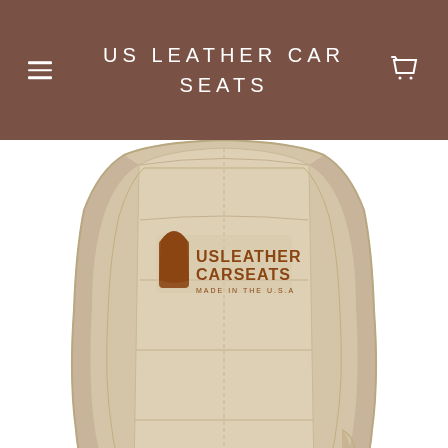US LEATHER CAR SEATS
[Figure (photo): A beige/tan leather car seat back cover with quilted panel sections and USLeather CarSeats logo (MADE IN THE U.S.A) embossed in brown on the center panel.]